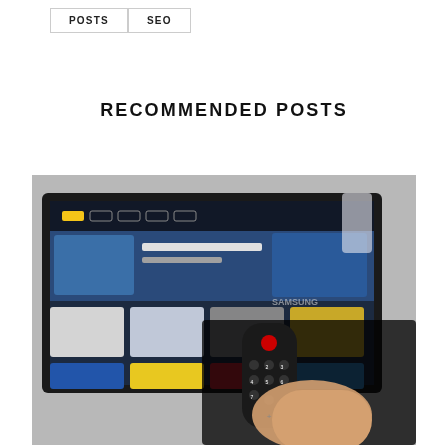POSTS   SEO
RECOMMENDED POSTS
[Figure (photo): A hand holding a TV remote control pointed at a Samsung smart TV screen showing a streaming service interface with various movie/show thumbnails and categories]